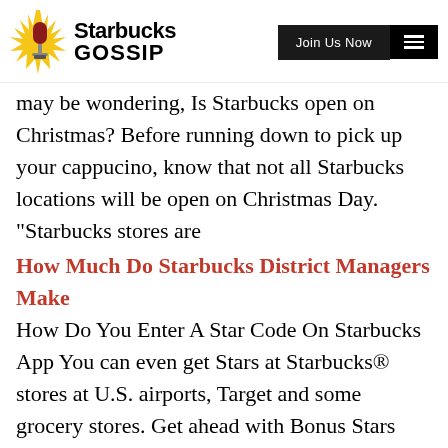Starbucks Gossip | Join Us Now
may be wondering, Is Starbucks open on Christmas? Before running down to pick up your cappucino, know that not all Starbucks locations will be open on Christmas Day. "Starbucks stores are
How Much Do Starbucks District Managers Make
How Do You Enter A Star Code On Starbucks App
You can even get Stars at Starbucks® stores at U.S. airports, Target and some grocery stores. Get ahead with Bonus Stars Get Stars even faster with Bonus Stars, games, and
Starbucks will deliver this additional